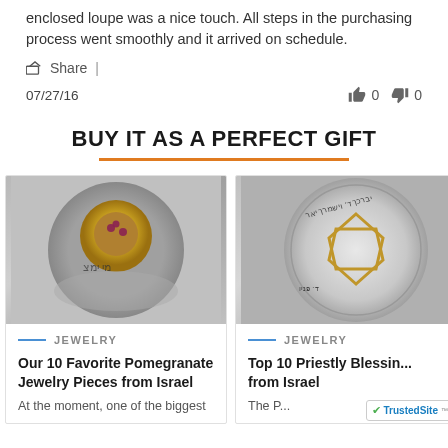enclosed loupe was a nice touch. All steps in the purchasing process went smoothly and it arrived on schedule.
Share |
07/27/16  👍 0  👎 0
BUY IT AS A PERFECT GIFT
[Figure (photo): Silver and gold ring with pomegranate design and Hebrew inscription]
JEWELRY
Our 10 Favorite Pomegranate Jewelry Pieces from Israel
At the moment, one of the biggest
[Figure (photo): Silver coin/medallion with Star of David and Hebrew text]
JEWELRY
Top 10 Priestly Blessing from Israel
The P...
[Figure (logo): TrustedSite badge]